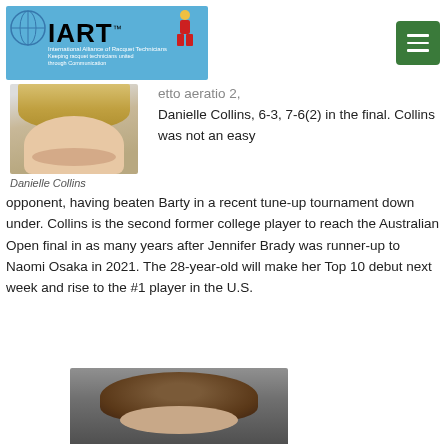[Figure (logo): IART - International Alliance of Racquet Technicians logo with globe and figure graphic on blue background]
[Figure (photo): Portrait photo of Danielle Collins, blonde woman]
Danielle Collins
etto aeratio 2, Danielle Collins, 6-3, 7-6(2) in the final. Collins was not an easy opponent, having beaten Barty in a recent tune-up tournament down under. Collins is the second former college player to reach the Australian Open final in as many years after Jennifer Brady was runner-up to Naomi Osaka in 2021. The 28-year-old will make her Top 10 debut next week and rise to the #1 player in the U.S.
[Figure (photo): Portrait photo of a person with curly dark hair, partially cropped at bottom of page]